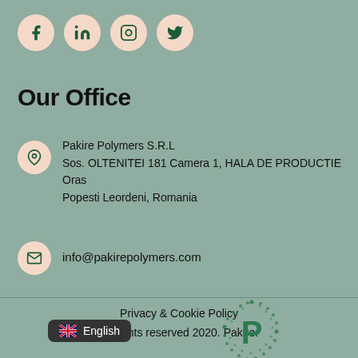[Figure (infographic): Row of four circular social media icons (Facebook, LinkedIn, Instagram, Twitter) with peach/salmon background and dark green icons]
Our Office
Pakire Polymers S.R.L
Sos. OLTENITEI 181 Camera 1, HALA DE PRODUCTIE Oras Popesti Leordeni, Romania
info@pakirepolymers.com
Privacy & Cookie Policy
All rights reserved 2020. Pakire.
[Figure (logo): Pakire circular dotted logo with green P letter in center]
[Figure (infographic): Language selector button showing UK flag and 'English' text on dark background]